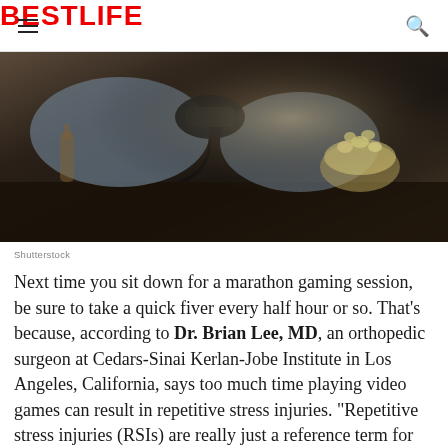BESTLIFE
[Figure (photo): Person sitting holding a video game controller with a bowl of popcorn nearby on a coffee table]
Shutterstock
Next time you sit down for a marathon gaming session, be sure to take a quick fiver every half hour or so. That's because, according to Dr. Brian Lee, MD, an orthopedic surgeon at Cedars-Sinai Kerlan-Jobe Institute in Los Angeles, California, says too much time playing video games can result in repetitive stress injuries. "Repetitive stress injuries (RSIs) are really just a reference term for any type of condition that is caused by too much stress